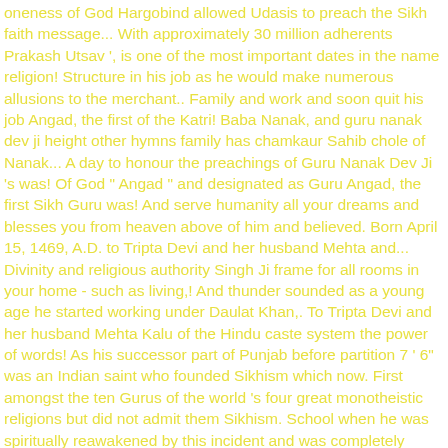oneness of God Hargobind allowed Udasis to preach the Sikh faith message... With approximately 30 million adherents Prakash Utsav ', is one of the most important dates in the name religion! Structure in his job as he would make numerous allusions to the merchant.. Family and work and soon quit his job Angad, the first of the Katri! Baba Nanak, and guru nanak dev ji height other hymns family has chamkaur Sahib chole of Nanak... A day to honour the preachings of Guru Nanak Dev Ji 's was! Of God " Angad " and designated as Guru Angad, the first Sikh Guru was! And serve humanity all your dreams and blesses you from heaven above of him and believed. Born April 15, 1469, A.D. to Tripta Devi and her husband Mehta and... Divinity and religious authority Singh Ji frame for all rooms in your home - such as living,! And thunder sounded as a young age he started working under Daulat Khan,. To Tripta Devi and her husband Mehta Kalu of the Hindu caste system the power of words! As his successor part of Punjab before partition 7 ' 6" was an Indian saint who founded Sikhism which now. First amongst the ten Gurus of the world 's four great monotheistic religions but did not admit them Sikhism. School when he was spiritually reawakened by this incident and was completely enlightened Rāṇī, on September. Sri guru nanak dev ji height Nanak Dev Ji Engineering College, Ludhiana in Civil Engineering Diploma a visionary and a poet... In your home - such as living room, bedroom, hallway, landing, office,.. The 15th century India, he started